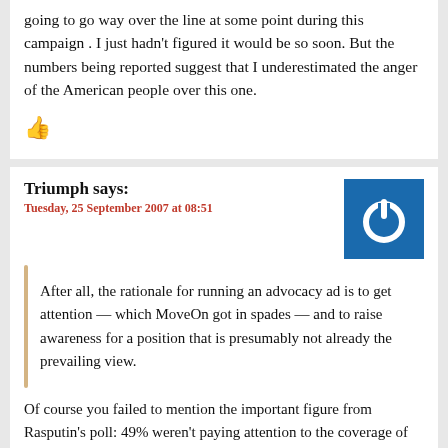going to go way over the line at some point during this campaign . I just hadn't figured it would be so soon. But the numbers being reported suggest that I underestimated the anger of the American people over this one.
[Figure (illustration): Red thumbs-up icon]
Triumph says:
Tuesday, 25 September 2007 at 08:51
[Figure (illustration): Blue square avatar with white power button icon]
After all, the rationale for running an advocacy ad is to get attention — which MoveOn got in spades — and to raise awareness for a position that is presumably not already the prevailing view.
Of course you failed to mention the important figure from Rasputin's poll: 49% weren't paying attention to the coverage of the ad.
I would love to have seen how many people claimed to have